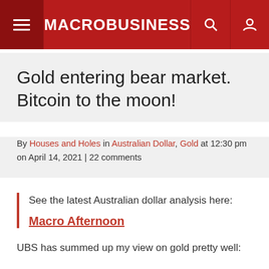MACROBUSINESS
Gold entering bear market. Bitcoin to the moon!
By Houses and Holes in Australian Dollar, Gold at 12:30 pm on April 14, 2021 | 22 comments
See the latest Australian dollar analysis here:
Macro Afternoon
UBS has summed up my view on gold pretty well: